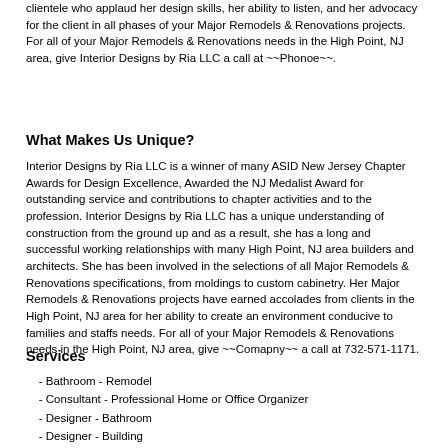clientele who applaud her design skills, her ability to listen, and her advocacy for the client in all phases of your Major Remodels & Renovations projects. For all of your Major Remodels & Renovations needs in the High Point, NJ area, give Interior Designs by Ria LLC a call at ~~Phonoe~~.
What Makes Us Unique?
Interior Designs by Ria LLC is a winner of many ASID New Jersey Chapter Awards for Design Excellence, Awarded the NJ Medalist Award for outstanding service and contributions to chapter activities and to the profession. Interior Designs by Ria LLC has a unique understanding of construction from the ground up and as a result, she has a long and successful working relationships with many High Point, NJ area builders and architects. She has been involved in the selections of all Major Remodels & Renovations specifications, from moldings to custom cabinetry. Her Major Remodels & Renovations projects have earned accolades from clients in the High Point, NJ area for her ability to create an environment conducive to families and staffs needs. For all of your Major Remodels & Renovations needs in the High Point, NJ area, give ~~Comapny~~ a call at 732-571-1171.
Services
- Bathroom - Remodel
- Consultant - Professional Home or Office Organizer
- Designer - Bathroom
- Designer - Building
- Designer - Electrical Lighting
- Designer - Residential/Interior Space Planner